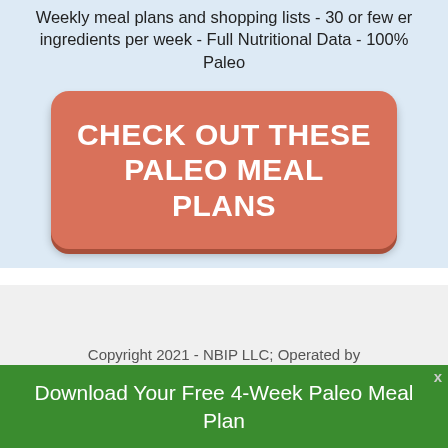Weekly meal plans and shopping lists - 30 or few er ingredients per week - Full Nutritional Data - 100% Paleo
[Figure (other): Orange-red rounded button CTA with text CHECK OUT THESE PALEO MEAL PLANS in bold white uppercase]
Copyright 2021 - NBIP LLC; Operated by Nourishing Brands LLC | Privacy Policy |
Download Your Free 4-Week Paleo Meal Plan